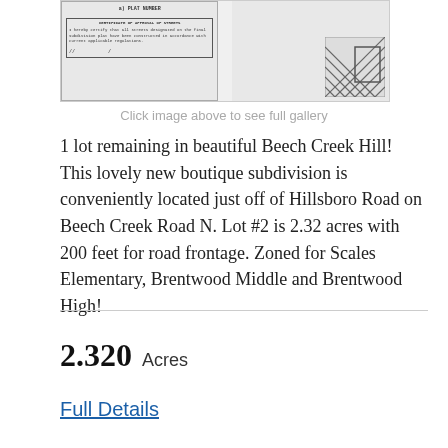[Figure (other): Scanned subdivision plat document with two panels: left panel shows a certificate of approval of streets form, right panel shows a hatched engineering diagram.]
Click image above to see full gallery
1 lot remaining in beautiful Beech Creek Hill! This lovely new boutique subdivision is conveniently located just off of Hillsboro Road on Beech Creek Road N. Lot #2 is 2.32 acres with 200 feet for road frontage. Zoned for Scales Elementary, Brentwood Middle and Brentwood High!
2.320  Acres
Full Details